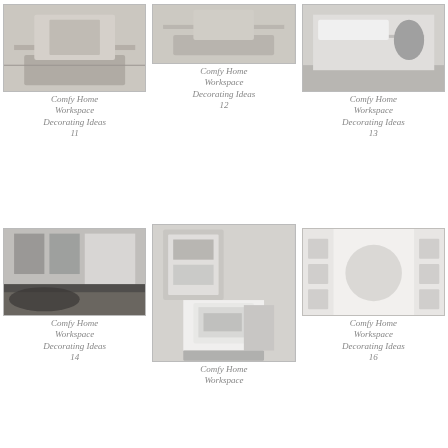[Figure (photo): Home workspace with rustic wooden desk and upholstered chair, light tones]
Comfy Home Workspace Decorating Ideas 11
[Figure (photo): Home office with light desk, computer, and organized workspace]
Comfy Home Workspace Decorating Ideas 12
[Figure (photo): Modern white home office with long desk, iMacs, and black chair near window]
Comfy Home Workspace Decorating Ideas 13
[Figure (photo): Living/office space with gallery wall, dark sofa, and patterned rug]
Comfy Home Workspace Decorating Ideas 14
[Figure (photo): White home office with corkboard, iMac, printer, and bar stool]
Comfy Home Workspace Decorating Ideas 15
[Figure (photo): Built-in white shelving unit with decorative mirror and storage]
Comfy Home Workspace Decorating Ideas 16